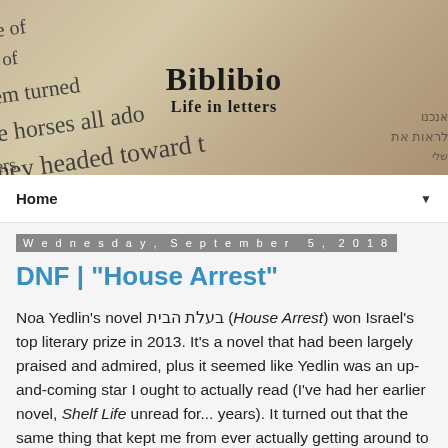[Figure (photo): Blog header image showing pages of books with text in English and Hebrew, overlaid with the blog name 'Biblibio' and tagline 'Life in letters']
Home ▼
Wednesday, September 5, 2018
DNF | "House Arrest"
Noa Yedlin's novel בעלת הבית (House Arrest) won Israel's top literary prize in 2013. It's a novel that had been largely praised and admired, plus it seemed like Yedlin was an up-and-coming star I ought to actually read (I've had her earlier novel, Shelf Life unread for... years). It turned out that the same thing that kept me from ever actually getting around to reading Shelf Life (an odd pretentiousness that has kept me